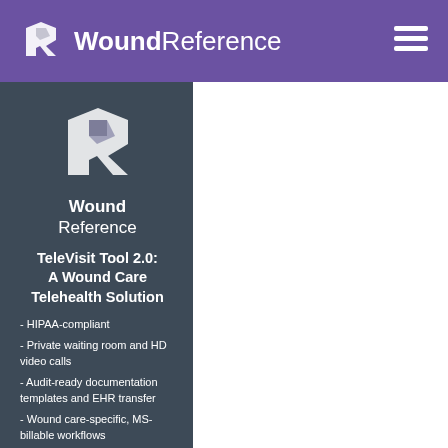WoundReference
[Figure (logo): WoundReference logo icon (angular R shape in white/grey) in dark teal sidebar]
Wound Reference
TeleVisit Tool 2.0: A Wound Care Telehealth Solution
- HIPAA-compliant
- Private waiting room and HD video calls
- Audit-ready documentation templates and EHR transfer
- Wound care-specific, MS-billable workflows
- No downloads required